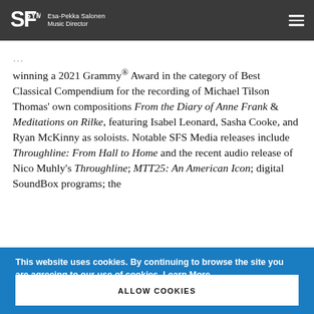SF Symphony — Esa-Pekka Salonen, Music Director
winning a 2021 Grammy® Award in the category of Best Classical Compendium for the recording of Michael Tilson Thomas' own compositions From the Diary of Anne Frank & Meditations on Rilke, featuring Isabel Leonard, Sasha Cooke, and Ryan McKinny as soloists. Notable SFS Media releases include Throughline: From Hall to Home and the recent audio release of Nico Muhly's Throughline; MTT25: An American Icon; digital SoundBox programs; the
This website uses cookies. By continuing to browse the site you are agreeing to our use of cookies. Learn More.
ALLOW COOKIES